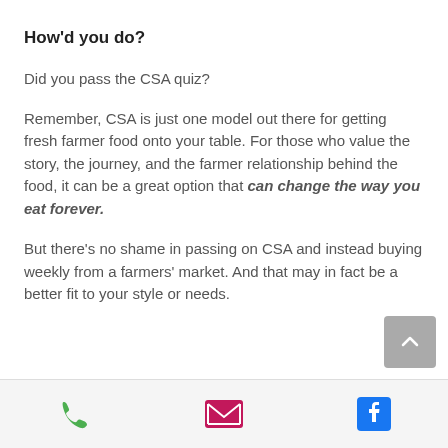How'd you do?
Did you pass the CSA quiz?
Remember, CSA is just one model out there for getting fresh farmer food onto your table. For those who value the story, the journey, and the farmer relationship behind the food, it can be a great option that can change the way you eat forever.
But there's no shame in passing on CSA and instead buying weekly from a farmers' market. And that may in fact be a better fit to your style or needs.
phone | email | facebook